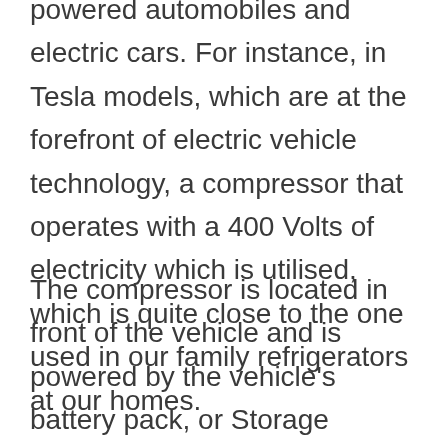powered automobiles and electric cars. For instance, in Tesla models, which are at the forefront of electric vehicle technology, a compressor that operates with a 400 Volts of electricity which is utilised, which is quite close to the one used in our family refrigerators at our homes.
The compressor is located in front of the vehicle and is powered by the vehicle's battery pack, or Storage Battery (ESS) as Tesla refers to it. The Power Storage System is located at the back of the vehicle.The pump in an electric car, like the one in IC